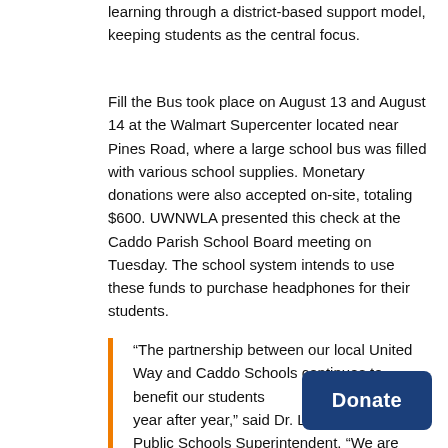learning through a district-based support model, keeping students as the central focus.
Fill the Bus took place on August 13 and August 14 at the Walmart Supercenter located near Pines Road, where a large school bus was filled with various school supplies. Monetary donations were also accepted on-site, totaling $600. UWNWLA presented this check at the Caddo Parish School Board meeting on Tuesday. The school system intends to use these funds to purchase headphones for their students.
“The partnership between our local United Way and Caddo Schools continues to benefit our students year after year,” said Dr. Lamar Goree, Caddo Public Schools Superintendent. “We are very